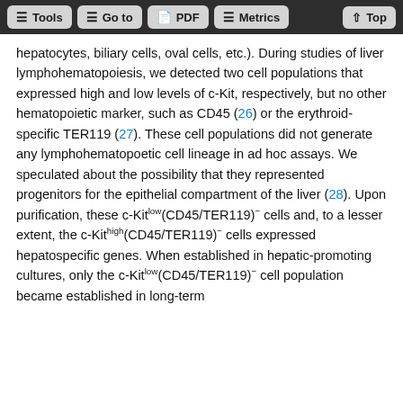Tools | Go to | PDF | Metrics | Top
hepatocytes, biliary cells, oval cells, etc.). During studies of liver lymphohematopoiesis, we detected two cell populations that expressed high and low levels of c-Kit, respectively, but no other hematopoietic marker, such as CD45 (26) or the erythroid-specific TER119 (27). These cell populations did not generate any lymphohematopoetic cell lineage in ad hoc assays. We speculated about the possibility that they represented progenitors for the epithelial compartment of the liver (28). Upon purification, these c-Kitlow(CD45/TER119)− cells and, to a lesser extent, the c-Kithigh(CD45/TER119)− cells expressed hepatospecific genes. When established in hepatic-promoting cultures, only the c-Kitlow(CD45/TER119)− cell population became established in long-term